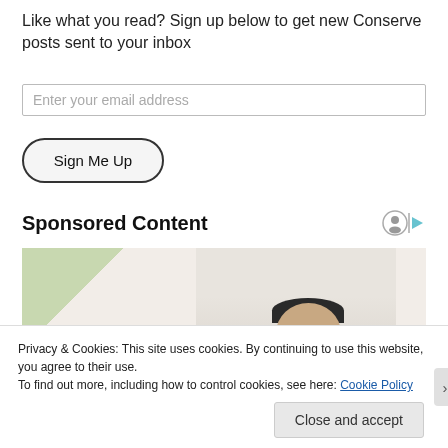Like what you read? Sign up below to get new Conserve posts sent to your inbox
Enter your email address
Sign Me Up
Sponsored Content
[Figure (photo): Person wearing glasses viewed from below, partial photo in sponsored content section]
Privacy & Cookies: This site uses cookies. By continuing to use this website, you agree to their use.
To find out more, including how to control cookies, see here: Cookie Policy
Close and accept